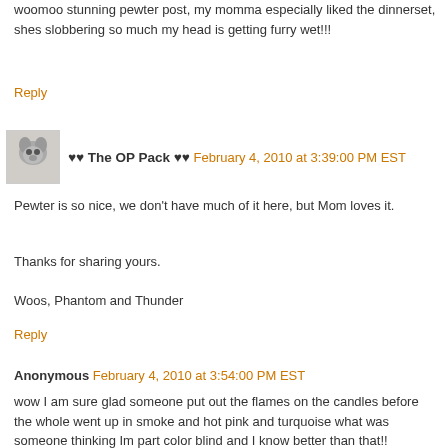woomoo stunning pewter post, my momma especially liked the dinnerset, shes slobbering so much my head is getting furry wet!!!
Reply
♥♥ The OP Pack ♥♥  February 4, 2010 at 3:39:00 PM EST
Pewter is so nice, we don't have much of it here, but Mom loves it.
Thanks for sharing yours.
Woos, Phantom and Thunder
Reply
Anonymous  February 4, 2010 at 3:54:00 PM EST
wow I am sure glad someone put out the flames on the candles before the whole went up in smoke and hot pink and turquoise what was someone thinking Im part color blind and I know better than that!!